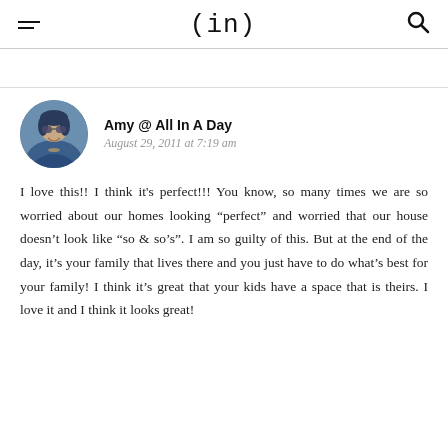(in)
Amy @ All In A Day
August 29, 2011 at 7:19 am
I love this!! I think it's perfect!!! You know, so many times we are so worried about our homes looking “perfect” and worried that our house doesn’t look like “so & so’s”. I am so guilty of this. But at the end of the day, it’s your family that lives there and you just have to do what’s best for your family! I think it’s great that your kids have a space that is theirs. I love it and I think it looks great!